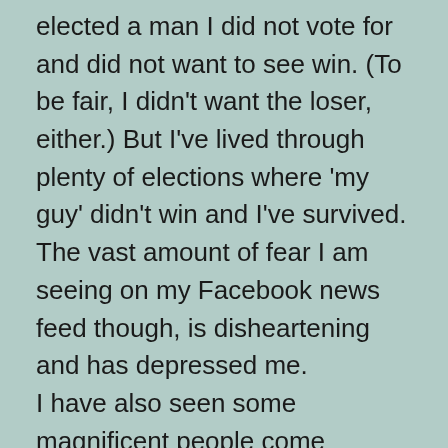elected a man I did not vote for and did not want to see win. (To be fair, I didn't want the loser, either.) But I've lived through plenty of elections where 'my guy' didn't win and I've survived. The vast amount of fear I am seeing on my Facebook news feed though, is disheartening and has depressed me.
I have also seen some magnificent people come forward to share ideas on how to make things better. Those people make me happy.
But, due to politics, I have dreaded going on Facebook since Tuesday. This morning, a fan